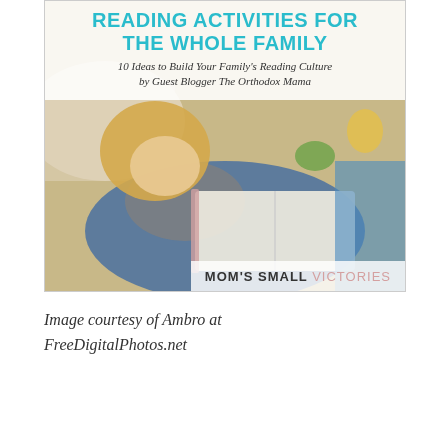[Figure (photo): Blog post featured image showing a child reading a book, with title overlay 'READING ACTIVITIES FOR THE WHOLE FAMILY' in teal, subtitle '10 Ideas to Build Your Family's Reading Culture by Guest Blogger The Orthodox Mama', and 'MOM'S SMALL VICTORIES' logo at bottom right.]
Image courtesy of Ambro at FreeDigitalPhotos.net